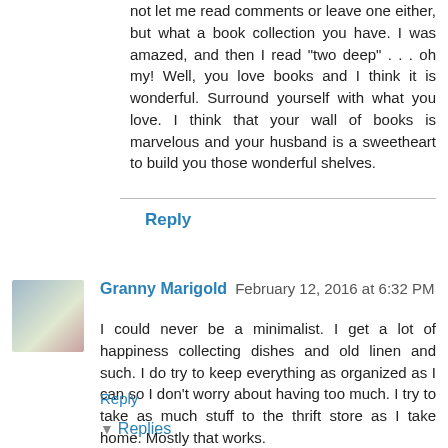not let me read comments or leave one either, but what a book collection you have. I was amazed, and then I read "two deep" . . . oh my! Well, you love books and I think it is wonderful. Surround yourself with what you love. I think that your wall of books is marvelous and your husband is a sweetheart to build you those wonderful shelves.
Reply
Granny Marigold  February 12, 2016 at 6:32 PM
I could never be a minimalist. I get a lot of happiness collecting dishes and old linen and such. I do try to keep everything as organized as I can so I don't worry about having too much. I try to take as much stuff to the thrift store as I take home. Mostly that works.
Reply
Replies